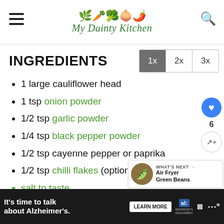My Dainty Kitchen
INGREDIENTS
1 large cauliflower head
1 tsp onion powder
1/2 tsp garlic powder
1/4 tsp black pepper powder
1/2 tsp cayenne pepper or paprika
1/2 tsp chilli flakes (optional)
salt to taste
It's time to talk about Alzheimer's. LEARN MORE